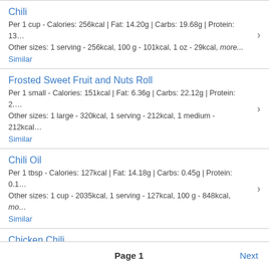Chili
Per 1 cup - Calories: 256kcal | Fat: 14.20g | Carbs: 19.68g | Protein: 13…
Other sizes: 1 serving - 256kcal, 100 g - 101kcal, 1 oz - 29kcal, more...
Similar
Frosted Sweet Fruit and Nuts Roll
Per 1 small - Calories: 151kcal | Fat: 6.36g | Carbs: 22.12g | Protein: 2.…
Other sizes: 1 large - 320kcal, 1 serving - 212kcal, 1 medium - 212kcal…
Similar
Chili Oil
Per 1 tbsp - Calories: 127kcal | Fat: 14.18g | Carbs: 0.45g | Protein: 0.1…
Other sizes: 1 cup - 2035kcal, 1 serving - 127kcal, 100 g - 848kcal, mo…
Similar
Chicken Chili
Per 1 cup - Calories: 226kcal | Fat: 8.00g | Carbs: 19.68g | Protein: 19.…
Other sizes: 1 serving - 226kcal, 100 g - 89kcal, 1 oz - 25kcal, more...
Similar
Page 1   Next